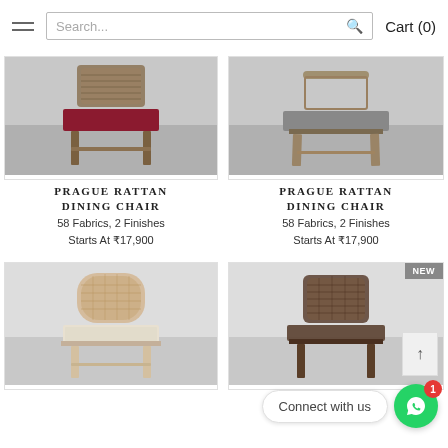Cart (0)
[Figure (photo): Prague Rattan Dining Chair with red/burgundy fabric seat, wooden frame, front view on light gray background]
[Figure (photo): Prague Rattan Dining Chair with gray fabric seat, wooden frame, front view on light gray background]
PRAGUE RATTAN DINING CHAIR
58 Fabrics, 2 Finishes
Starts At ₹17,900
PRAGUE RATTAN DINING CHAIR
58 Fabrics, 2 Finishes
Starts At ₹17,900
[Figure (photo): Dining chair with rattan/wicker back and patterned upholstery seat, light wood frame, front view]
[Figure (photo): Dining chair with rattan/wicker back, dark wood frame, partial view. NEW badge in corner.]
Connect with us